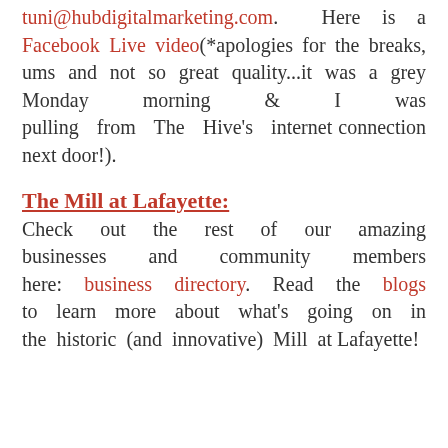tuni@hubdigitalmarketing.com. Here is a Facebook Live video(*apologies for the breaks, ums and not so great quality...it was a grey Monday morning & I was pulling from The Hive's internet connection next door!).
The Mill at Lafayette:
Check out the rest of our amazing businesses and community members here: business directory. Read the blogs to learn more about what's going on in the historic (and innovative) Mill at Lafayette!